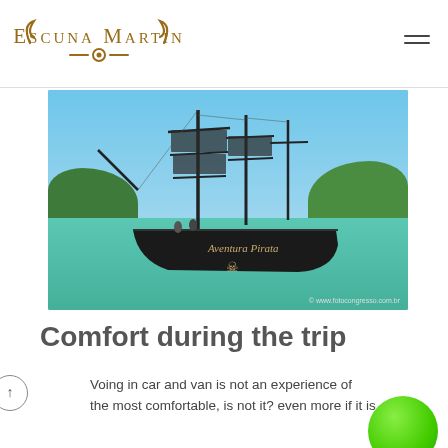Escuna Martin
[Figure (photo): A large black pirate-style tall ship named 'Aventura Pirata' sailing on turquoise water with green hills in the background and blue sky. People visible on deck. Photo credit: © www.fotocongresso.com.br]
Comfort during the trip
Voing in car and van is not an experience of the most comfortable, is not it? even more if it is